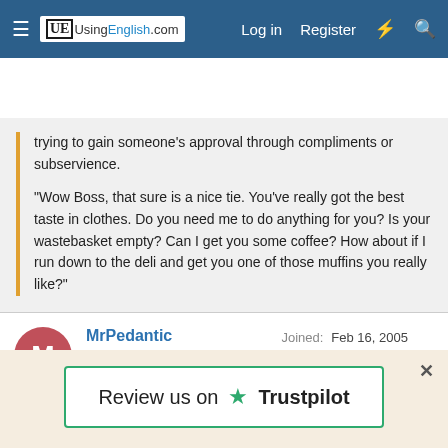UsingEnglish.com — Log in | Register
trying to gain someone's approval through compliments or subservience.
"Wow Boss, that sure is a nice tie. You've really got the best taste in clothes. Do you need me to do anything for you? Is your wastebasket empty? Can I get you some coffee? How about if I run down to the deli and get you one of those muffins you really like?"
MrPedantic
Key Member
Joined: Feb 16, 2005
Member Type: Other
Native Language: English
Review us on Trustpilot